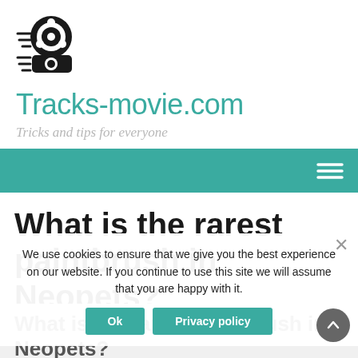[Figure (logo): Movie camera/film reel logo icon for Tracks-movie.com]
Tracks-movie.com
Tricks and tips for everyone
[Figure (other): Teal navigation bar with hamburger menu icon (three white lines) on the right]
What is the rarest paintbrush in Neopets?
MIXED
We use cookies to ensure that we give you the best experience on our website. If you continue to use this site we will assume that you are happy with it.
Ok   Privacy policy
What is the rarest paintbrush in Neopets?